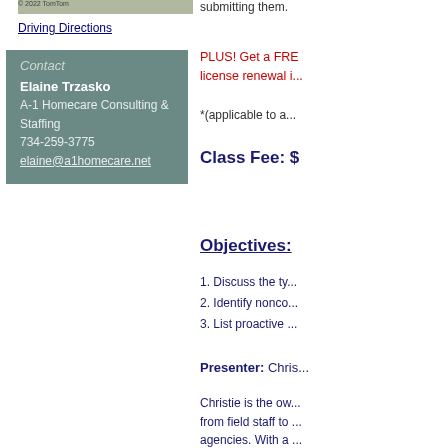[Figure (screenshot): Map thumbnail strip showing location]
Driving Directions
Contact
Elaine Trzasko
A-1 Homecare Consulting & Staffing
734-259-3775
elaine@a1homecare.net
submitting them.
PLUS! Get a FRE... license renewal i...
*(applicable to a...
Class Fee: $
Objectives:
1. Discuss the ty...
2. Identify nonco...
3. List proactive ...
Presenter: Chris...
Christie is the ow... from field staff to ... agencies. With a ... been a great reso...